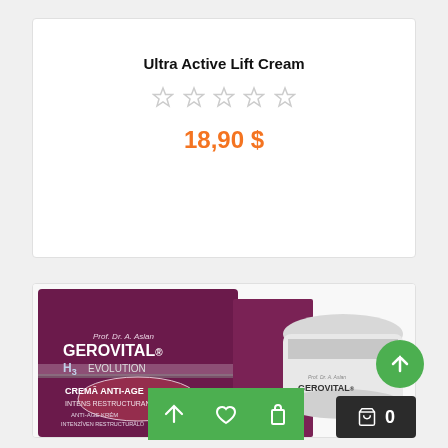Ultra Active Lift Cream
★★★★★ (empty stars rating)
18,90 $
[Figure (photo): Gerovital H3 Evolution Crema Anti-Age Intens Restructuranta product box and cream jar]